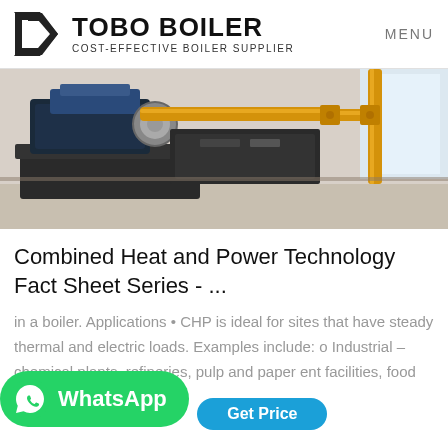TOBO BOILER | COST-EFFECTIVE BOILER SUPPLIER | MENU
[Figure (photo): Industrial boiler room with heavy machinery, blue equipment on the left and yellow gas pipes on the right]
Combined Heat and Power Technology Fact Sheet Series - ...
in a boiler. Applications • CHP is ideal for sites that have steady thermal and electric loads. Examples include: o Industrial – chemical plants, refineries, pulp and paper ent facilities, food processing sit...
[Figure (other): WhatsApp green button with WhatsApp icon and label, below it a blue Get Price button]